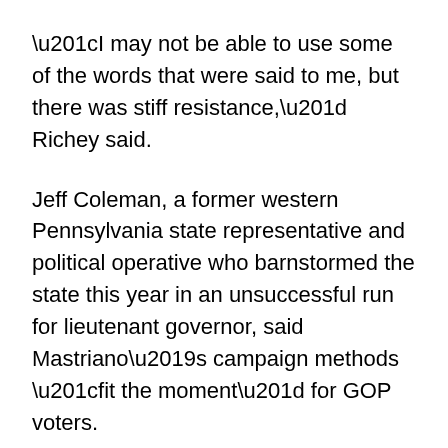“I may not be able to use some of the words that were said to me, but there was stiff resistance,” Richey said.
Jeff Coleman, a former western Pennsylvania state representative and political operative who barnstormed the state this year in an unsuccessful run for lieutenant governor, said Mastriano’s campaign methods “fit the moment” for GOP voters.
Coleman, who sparred with Mastriano’s preferred running mate Teddy Daniels over his tone and approach, said that rank-and-file Republicans had a “fireside chat” relationship with Mastriano